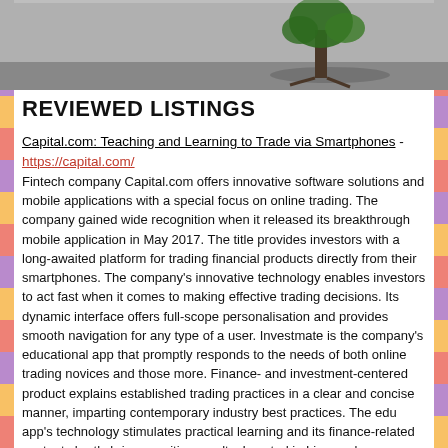[Figure (photo): Black and white photo of a small tree growing from a crack in concrete floor against a wall background]
REVIEWED LISTINGS
Capital.com: Teaching and Learning to Trade via Smartphones - https://capital.com/
Fintech company Capital.com offers innovative software solutions and mobile applications with a special focus on online trading. The company gained wide recognition when it released its breakthrough mobile application in May 2017. The title provides investors with a long-awaited platform for trading financial products directly from their smartphones. The company's innovative technology enables investors to act fast when it comes to making effective trading decisions. Its dynamic interface offers full-scope personalisation and provides smooth navigation for any type of a user. Investmate is the company's educational app that promptly responds to the needs of both online trading novices and those more. Finance- and investment-centered product explains established trading practices in a clear and concise manner, imparting contemporary industry best practices. The edu app's technology stimulates practical learning and its finance-related content shortly brings positive results. Located in Limassol, Capital.com is licensed and supervised by the Cyprus Securities and Exchange Commission. - [Read more]
Futures Brokers - The PRICE Futures Group -